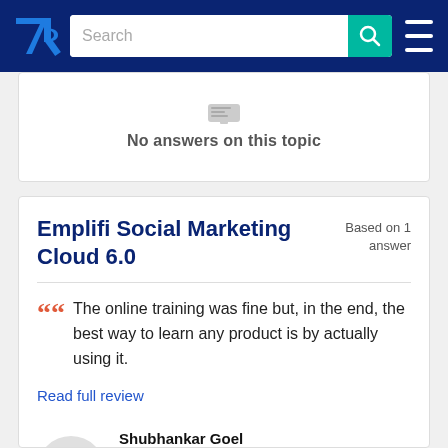TrustRadius navigation bar with logo, search bar, and menu
No answers on this topic
Emplifi Social Marketing Cloud 6.0
Based on 1 answer
The online training was fine but, in the end, the best way to learn any product is by actually using it.
Read full review
Shubhankar Goel
Digital Marketing Analyst
Publicis Kaplan Thaler (Marketing and Advertising, 501-1000 employees)